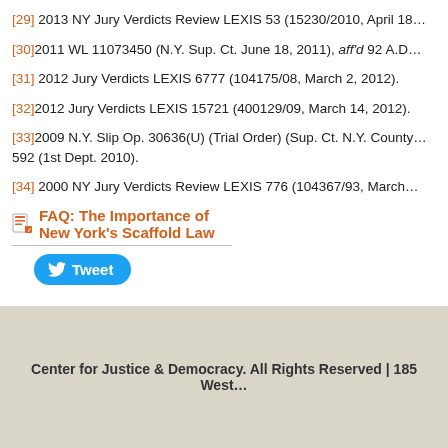[29] 2013 NY Jury Verdicts Review LEXIS 53 (15230/2010, April 18...
[30] 2011 WL 11073450 (N.Y. Sup. Ct. June 18, 2011), aff'd 92 A.D....
[31] 2012 Jury Verdicts LEXIS 6777 (104175/08, March 2, 2012).
[32] 2012 Jury Verdicts LEXIS 15721 (400129/09, March 14, 2012).
[33] 2009 N.Y. Slip Op. 30636(U) (Trial Order) (Sup. Ct. N.Y. County... 592 (1st Dept. 2010).
[34] 2000 NY Jury Verdicts Review LEXIS 776 (104367/93, March...
FAQ: The Importance of New York's Scaffold Law
Center for Justice & Democracy. All Rights Reserved | 185 West...